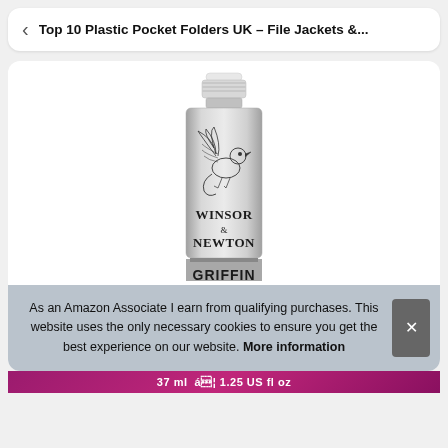Top 10 Plastic Pocket Folders UK – File Jackets &...
[Figure (photo): A Winsor & Newton Griffin alkyd paint tube, silver metallic with a white cap, showing the brand name and griffin logo on the label.]
As an Amazon Associate I earn from qualifying purchases. This website uses the only necessary cookies to ensure you get the best experience on our website. More information